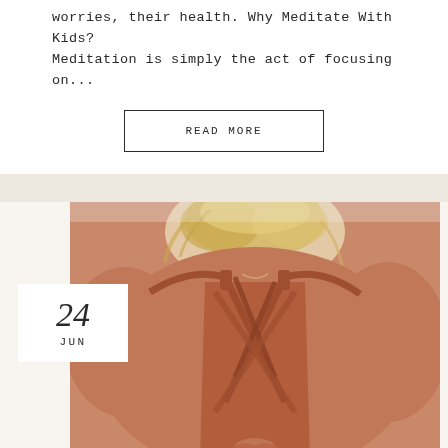worries, their health. Why Meditate With Kids? Meditation is simply the act of focusing on...
READ MORE
[Figure (photo): Back view of a woman with blonde upswept hair wearing a rust/terracotta colored strappy cross-back sports bra, hands in prayer position, yoga/meditation pose]
24 JUN